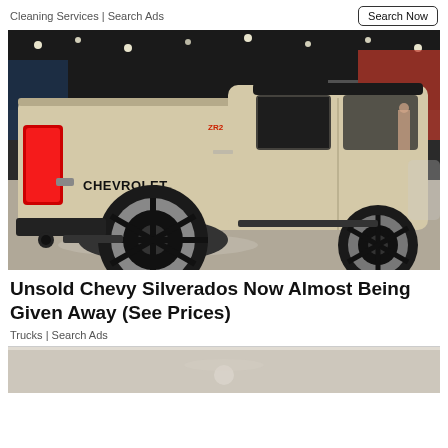Cleaning Services | Search Ads
[Figure (photo): Rear three-quarter view of a tan/beige Chevrolet Colorado ZR2 pickup truck on display at an auto show, showing red tail lights, black wheels, and off-road tires. The word CHEVROLET is on the tailgate. Indoor auto show setting with ceiling lights and other vehicles in background.]
Unsold Chevy Silverados Now Almost Being Given Away (See Prices)
Trucks | Search Ads
[Figure (photo): Partial image of a vehicle interior or beige surface visible at the bottom of the page.]